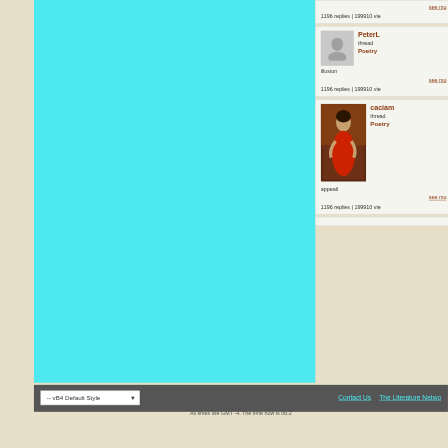see more
1196 replies | 199910 views
PeterL
thread
Poetry
illusion
see more
1196 replies | 199910 views
caciam
thread
Poetry
appealing
see more
1196 replies | 199910 views
-- vB4 Default Style
Contact Us   The Literature Netwo
All times are GMT -4. The time now is 06:2